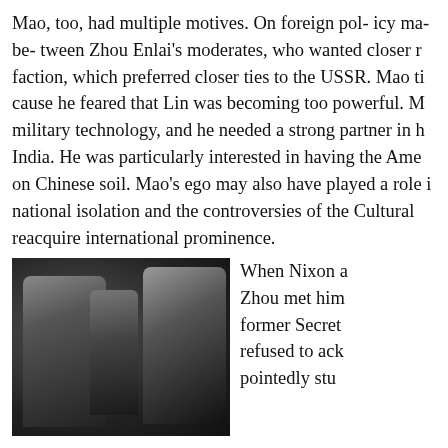Mao, too, had multiple motives. On foreign pol- icy ma- be- tween Zhou Enlai's moderates, who wanted closer r faction, which preferred closer ties to the USSR. Mao ti cause he feared that Lin was becoming too powerful. M military technology, and he needed a strong partner in h India. He was particularly interested in having the Ame on Chinese soil. Mao's ego may also have played a role i national isolation and the controversies of the Cultural reacquire international prominence.
[Figure (photo): Black and white photograph of three men in conversation. A Western man in a suit with glasses on the left faces a Chinese official on the right who is gesturing with one finger raised, while a third man stands in the background.]
When Nixon a Zhou met him former Secret refused to ack pointedly stu